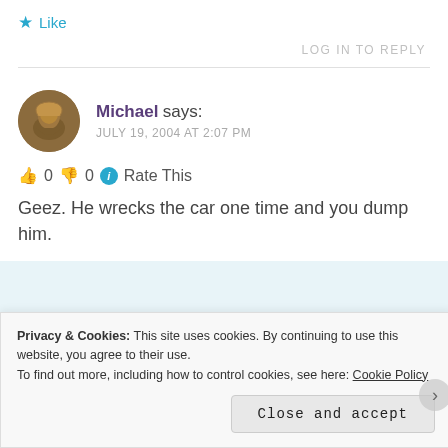★ Like
LOG IN TO REPLY
Michael says:
JULY 19, 2004 AT 2:07 PM
👍 0 👎 0 ℹ Rate This
Geez. He wrecks the car one time and you dump him.
Privacy & Cookies: This site uses cookies. By continuing to use this website, you agree to their use.
To find out more, including how to control cookies, see here: Cookie Policy
Close and accept